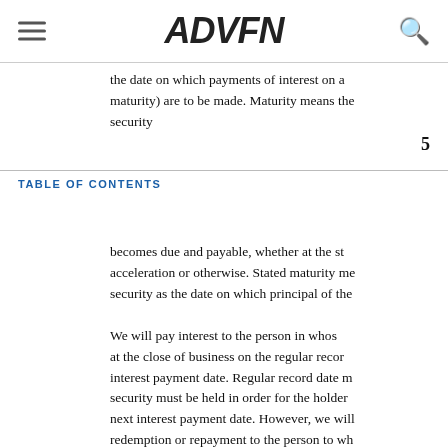ADVFN
the date on which payments of interest on a (maturity) are to be made. Maturity means the security
5
TABLE OF CONTENTS
becomes due and payable, whether at the stated maturity, acceleration or otherwise. Stated maturity means the security as the date on which principal of the We will pay interest to the person in whose name at the close of business on the regular record date before the interest payment date. Regular record date means the security must be held in order for the holder to receive the next interest payment date. However, we will pay interest at redemption or repayment to the person to whom payment of interest on any debt security originally issued date and an interest payment date will be made.